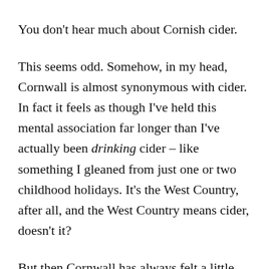You don't hear much about Cornish cider.
This seems odd. Somehow, in my head, Cornwall is almost synonymous with cider. In fact it feels as though I've held this mental association far longer than I've actually been drinking cider – like something I gleaned from just one or two childhood holidays. It's the West Country, after all, and the West Country means cider, doesn't it?
But then Cornwall has always felt a little different from the rest of the West Country. A little more its own place; an annex tacked on to the toe of Britain, jutting into the Atlantic, Celtic, rather